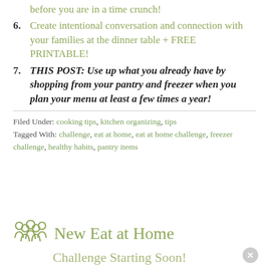before you are in a time crunch!
6. Create intentional conversation and connection with your families at the dinner table + FREE PRINTABLE!
7. THIS POST: Use up what you already have by shopping from your pantry and freezer when you plan your menu at least a few times a year!
Filed Under: cooking tips, kitchen organizing, tips
Tagged With: challenge, eat at home, eat at home challenge, freezer challenge, healthy habits, pantry items
[Figure (illustration): Small olive-colored icon of a group of people (family/community)]
New Eat at Home
Challenge Starting Soon!